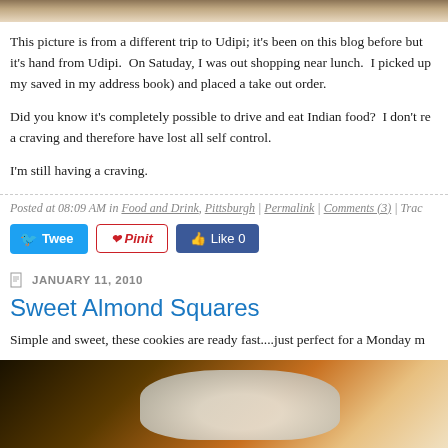[Figure (photo): Top portion of a food photo, cropped at top of page]
This picture is from a different trip to Udipi; it's been on this blog before but it's hand from Udipi. On Satuday, I was out shopping near lunch. I picked up my saved in my address book) and placed a take out order.
Did you know it's completely possible to drive and eat Indian food? I don't re a craving and therefore have lost all self control.
I'm still having a craving.
Posted at 08:09 AM in Food and Drink, Pittsburgh | Permalink | Comments (3) | Trac
[Figure (screenshot): Social media buttons: Tweet, Pin it, Like 0]
JANUARY 11, 2010
Sweet Almond Squares
Simple and sweet, these cookies are ready fast....just perfect for a Monday m
[Figure (photo): Photo of Sweet Almond Squares cookies on a warm-toned background]